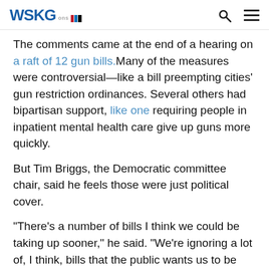WSKG
The comments came at the end of a hearing on a raft of 12 gun bills. Many of the measures were controversial—like a bill preempting cities' gun restriction ordinances. Several others had bipartisan support, like one requiring people in inpatient mental health care give up guns more quickly.
But Tim Briggs, the Democratic committee chair, said he feels those were just political cover.
“There’s a number of bills I think we could be taking up sooner,” he said. “We’re ignoring a lot of, I think, bills that the public wants us to be tackling.”